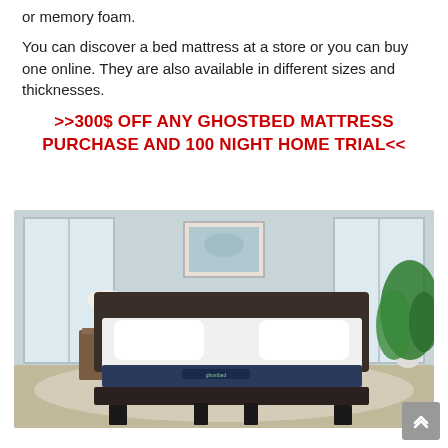or memory foam.
You can discover a bed mattress at a store or you can buy one online. They are also available in different sizes and thicknesses.
>>300$ OFF ANY GHOSTBED MATTRESS PURCHASE AND 100 NIGHT HOME TRIAL<<
[Figure (photo): A GhostBed mattress displayed on a dark platform bed in a modern bedroom setting with nightstand, lamp, framed art, and large potted plant.]